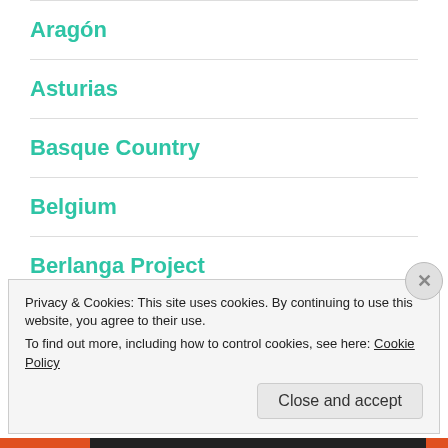Aragón
Asturias
Basque Country
Belgium
Berlanga Project
Camino 2022
Privacy & Cookies: This site uses cookies. By continuing to use this website, you agree to their use.
To find out more, including how to control cookies, see here: Cookie Policy
Close and accept